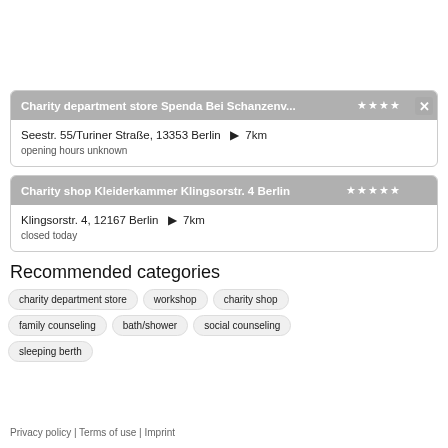Charity department store Spenda Bei Schanzenv... ★★★★ | Seestr. 55/Turiner Straße, 13353 Berlin ▶ 7km | opening hours unknown
Charity shop Kleiderkammer Klingsorstr. 4 Berlin ★★★★★ | Klingsorstr. 4, 12167 Berlin ▶ 7km | closed today
Recommended categories
charity department store
workshop
charity shop
family counseling
bath/shower
social counseling
sleeping berth
Privacy policy | Terms of use | Imprint